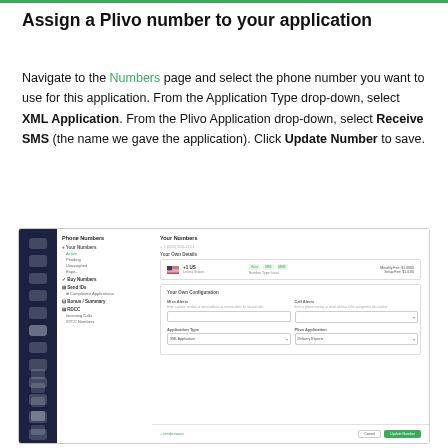Assign a Plivo number to your application
Navigate to the Numbers page and select the phone number you want to use for this application. From the Application Type drop-down, select XML Application. From the Plivo Application drop-down, select Receive SMS (the name we gave the application). Click Update Number to save.
[Figure (screenshot): Screenshot of Plivo console showing Phone Numbers / Your Numbers page. A number card shows a US number with voice, SMS, MMS capabilities, monthly and setup fees. Below is a 'Your Number Configuration' section with fields for 'Miss Alerts', 'Call Alerts', 'Application Type' set to 'XML Application', and 'Plivo Application' set to 'Delivery Reports'. Footer shows Cancel and Update Number buttons.]